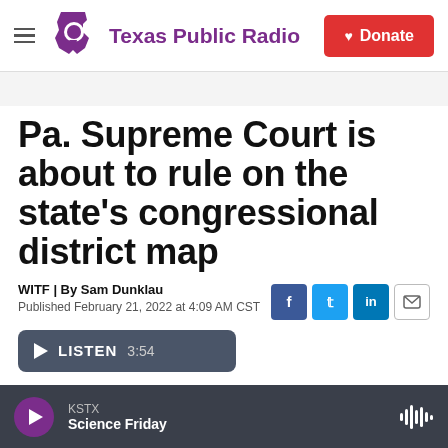Texas Public Radio — Donate
Pa. Supreme Court is about to rule on the state's congressional district map
WITF | By Sam Dunklau
Published February 21, 2022 at 4:09 AM CST
[Figure (other): Partially visible Listen audio player button]
KSTX — Science Friday (audio player bar)